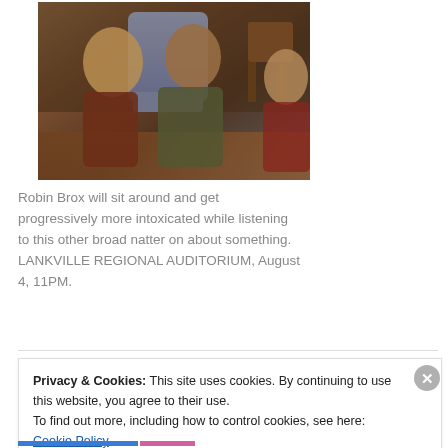[Figure (photo): Three women sitting together in a living room setting, having a conversation. One woman has blonde hair, another has dark hair and is wearing teal, and a third is partially visible on the right.]
Robin Brox will sit around and get progressively more intoxicated while listening to this other broad natter on about something. LANKVILLE REGIONAL AUDITORIUM, August 4, 11PM.
Privacy & Cookies: This site uses cookies. By continuing to use this website, you agree to their use.
To find out more, including how to control cookies, see here: Cookie Policy
Close and accept